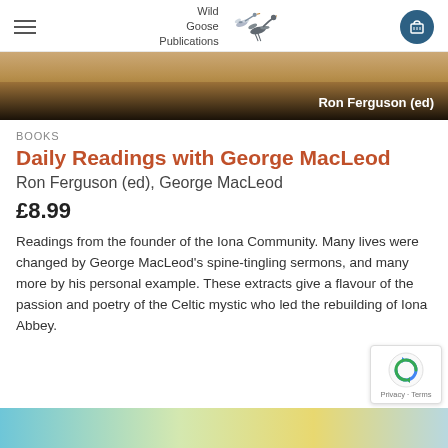Wild Goose Publications
[Figure (photo): Book cover image strip showing sandy/dark landscape with author name 'Ron Ferguson (ed)' overlaid in white text on dark background]
BOOKS
Daily Readings with George MacLeod
Ron Ferguson (ed), George MacLeod
£8.99
Readings from the founder of the Iona Community. Many lives were changed by George MacLeod's spine-tingling sermons, and many more by his personal example. These extracts give a flavour of the passion and poetry of the Celtic mystic who led the rebuilding of Iona Abbey.